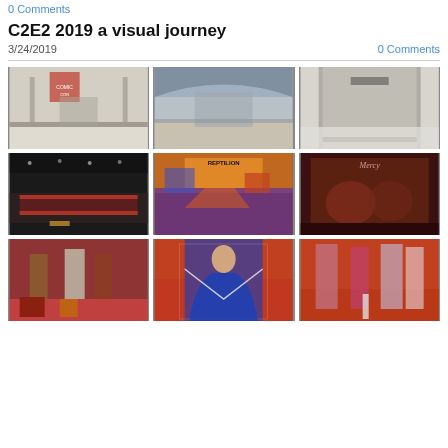0 Comments
C2E2 2019 a visual journey
3/24/2019   0 Comments
[Figure (photo): 3x3 grid of photos from C2E2 2019 comic convention. Top row: empty convention hall interior with Comic Con banners, large convention hall interior with arched ceiling, wide-angle convention floor crowded with attendees. Middle row: indoor arena with red barrier fencing, colorful comic book artwork labeled 'Reptilion', dark illustrated cover artwork labeled 'Mercy'. Bottom row: cosplayers in costumes on convention floor, Wonder Woman cosplayer with blue star-spangled cape from behind, group of cosplayers including Wonder Woman character.]